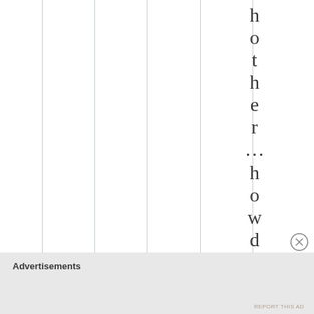[Figure (other): Vertical column separator lines on the left two-thirds of the page, with individual letters of 'other...howdi,' arranged vertically on the right side]
other...howdi,
Advertisements